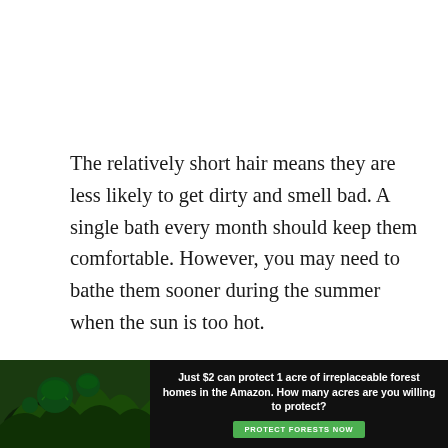The relatively short hair means they are less likely to get dirty and smell bad. A single bath every month should keep them comfortable. However, you may need to bathe them sooner during the summer when the sun is too hot.
Between baths, examine the wrinkles around their face and body to ensure that they are clean and healthy. That's because the loose skin may tra[p...]
[Figure (infographic): Advertisement banner at the bottom of the page with a dark background and forest/Amazon imagery on the left. Text reads: 'Just $2 can protect 1 acre of irreplaceable forest homes in the Amazon. How many acres are you willing to protect?' with a green 'PROTECT FORESTS NOW' button.]